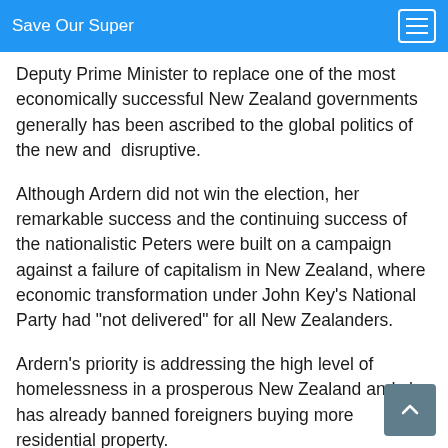Save Our Super
Deputy Prime Minister to replace one of the most economically successful New Zealand governments generally has been ascribed to the global politics of the new and  disruptive.
Although Ardern did not win the election, her remarkable success and the continuing success of the nationalistic Peters were built on a campaign against a failure of capitalism in New Zealand, where economic transformation under John Key’s National Party had “not delivered” for all New Zealanders.
Ardern’s priority is addressing the high level of homelessness in a prosperous New Zealand and she has already banned foreigners buying more residential property.